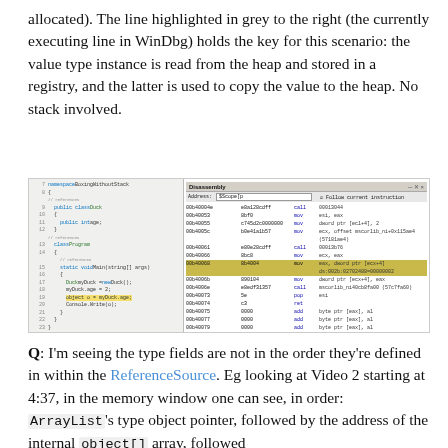allocated). The line highlighted in grey to the right (the currently executing line in WinDbg) holds the key for this scenario: the value type instance is read from the heap and stored in a registry, and the latter is used to copy the value to the heap. No stack involved.
[Figure (screenshot): WinDbg screenshot showing C# source code on the left with a highlighted line 'object o = myDuck.age;', and a Disassembly panel on the right showing assembly instructions with one highlighted row for address 00b40004 containing 'mov eax, dword ptr [ecx+4] ds:002b:02702488=00000002'.]
Q: I'm seeing the type fields are not in the order they're defined in within the ReferenceSource. Eg looking at Video 2 starting at 4:37, in the memory window one can see, in order: ArrayList's type object pointer, followed by the address of the internal object[] array, followed